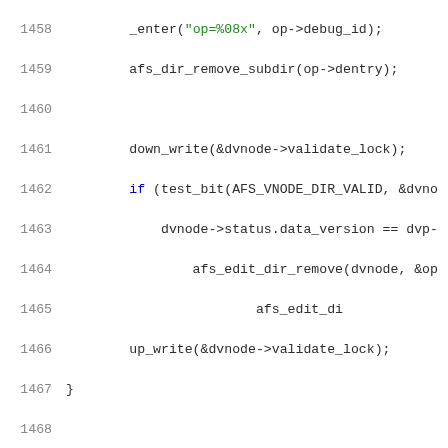[Figure (screenshot): Source code listing in C, lines 1458-1479, showing afs_rmdir related functions with syntax highlighting. Line numbers in gray on left, keywords in blue, string literals in green, rest in dark/black.]